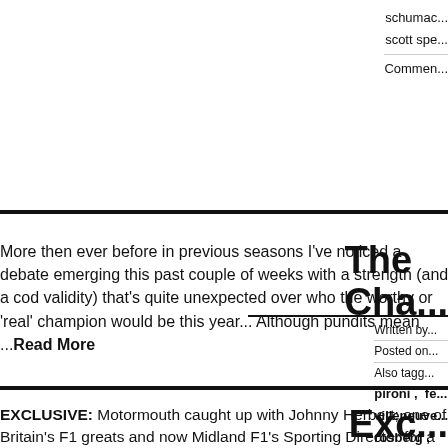schumac...
scott spe...
Commen...
More then ever before in previous seasons I've noticed a debate emerging this past couple of weeks with a strength (and a cod validity) that's quite unexpected over who the worthy or 'real' champion would be this year... Although pundits mean ...Read More
The Cha...
Written by...
Posted on...
Also tagg... pironi , fe... villeneuve rosberg , schumac... Commen...
EXCLUSIVE: Motormouth caught up with Johnny Herbert; one of Britain's F1 greats and now Midland F1's Sporting Director for a
Exc... Joh...